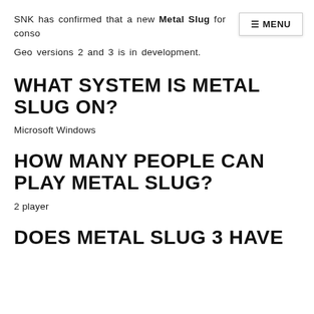SNK has confirmed that a new Metal Slug for conso… Geo versions 2 and 3 is in development.
WHAT SYSTEM IS METAL SLUG ON?
Microsoft Windows
HOW MANY PEOPLE CAN PLAY METAL SLUG?
2 player
DOES METAL SLUG 3 HAVE